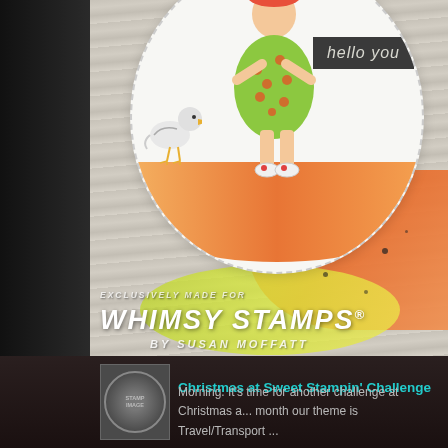[Figure (photo): Handmade greeting card featuring a girl in a green polka-dot dress standing next to a seagull, on a circular white card with a watermelon-colored bottom, 'hello you' badge in dark rectangle, set on a wood-grain background. Whimsy Stamps branding text overlaid at bottom.]
EXCLUSIVELY MADE FOR
WHIMSY STAMPS®
BY SUSAN MOFFATT
Christmas at Sweet Stampin' Challenge
Morning. It's time for another challenge at Christmas a... month our theme is Travel/Transport ...